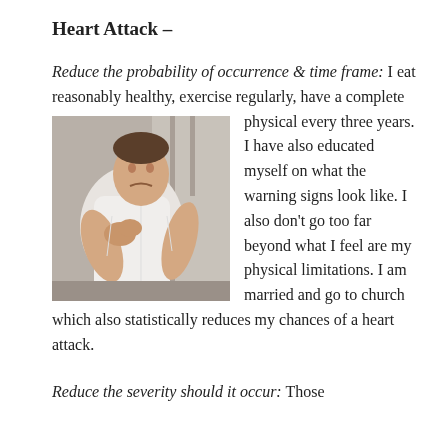Heart Attack –
Reduce the probability of occurrence & time frame: I eat reasonably healthy, exercise regularly, have a complete physical every three years. I have also educated myself on what the warning signs look like. I also don't go too far beyond what I feel are my physical limitations. I am married and go to church which also statistically reduces my chances of a heart attack.
[Figure (photo): A man in a white shirt clutching his chest, appearing to be in pain, suggesting a heart attack.]
Reduce the severity should it occur: Those